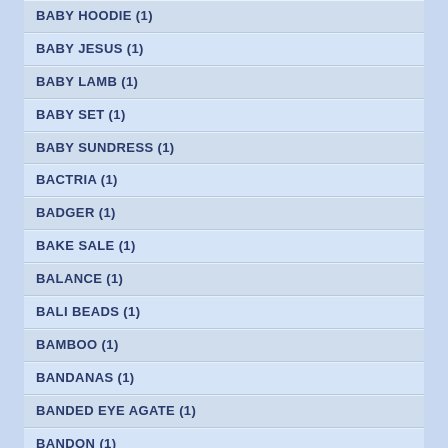BABY HOODIE (1)
BABY JESUS (1)
BABY LAMB (1)
BABY SET (1)
BABY SUNDRESS (1)
BACTRIA (1)
BADGER (1)
BAKE SALE (1)
BALANCE (1)
BALI BEADS (1)
BAMBOO (1)
BANDANAS (1)
BANDED EYE AGATE (1)
BANDON (1)
BANGLE BRACELET (1)
BANNER (1)
BAPTISM (1)
BAR TOWEL (1)